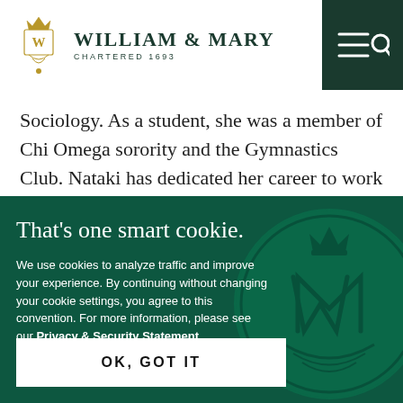William & Mary — Chartered 1693
Sociology. As a student, she was a member of Chi Omega sorority and the Gymnastics Club. Nataki has dedicated her career to work in education – first in
That's one smart cookie.
We use cookies to analyze traffic and improve your experience. By continuing without changing your cookie settings, you agree to this convention. For more information, please see our Privacy & Security Statement.
OK, GOT IT